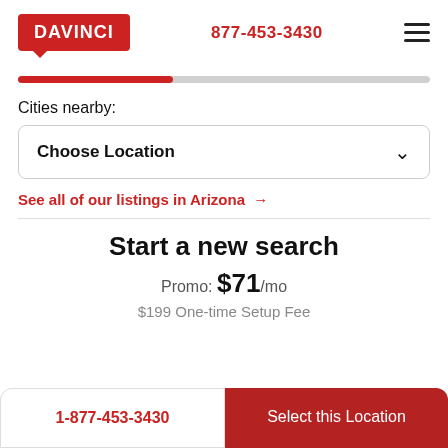[Figure (logo): Davinci red logo with speech bubble tail]
877-453-3430
[Figure (other): Hamburger menu icon (three horizontal lines)]
[Figure (other): Progress bar, approximately 38% filled in red]
Cities nearby:
Choose Location
See all of our listings in Arizona →
Start a new search
Promo: $71/mo
$199 One-time Setup Fee
1-877-453-3430
Select this Location